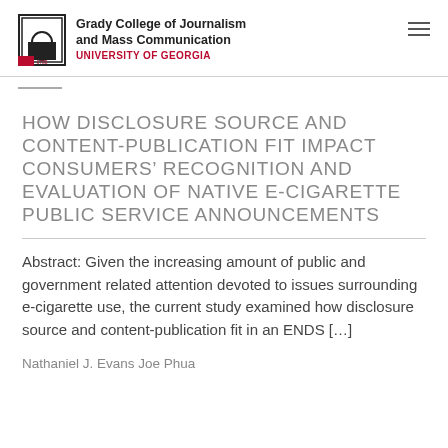Grady College of Journalism and Mass Communication
UNIVERSITY OF GEORGIA
HOW DISCLOSURE SOURCE AND CONTENT-PUBLICATION FIT IMPACT CONSUMERS’ RECOGNITION AND EVALUATION OF NATIVE E-CIGARETTE PUBLIC SERVICE ANNOUNCEMENTS
Abstract: Given the increasing amount of public and government related attention devoted to issues surrounding e-cigarette use, the current study examined how disclosure source and content-publication fit in an ENDS [...]
Nathaniel J. Evans Joe Phua